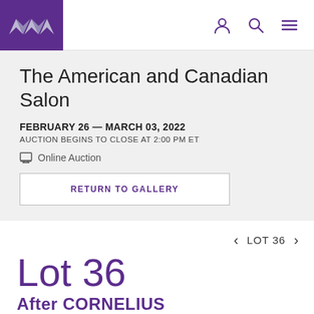Navigation bar with auction house logo and icons
The American and Canadian Salon
FEBRUARY 26 — MARCH 03, 2022
AUCTION BEGINS TO CLOSE AT 2:00 PM ET
Online Auction
RETURN TO GALLERY
< LOT 36 >
Lot 36
After CORNELIUS